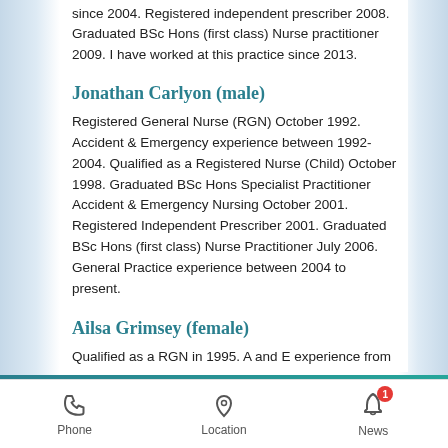since 2004. Registered independent prescriber 2008. Graduated BSc Hons (first class) Nurse practitioner 2009. I have worked at this practice since 2013.
Jonathan Carlyon (male)
Registered General Nurse (RGN) October 1992. Accident & Emergency experience between 1992-2004. Qualified as a Registered Nurse (Child) October 1998. Graduated BSc Hons Specialist Practitioner Accident & Emergency Nursing October 2001. Registered Independent Prescriber 2001. Graduated BSc Hons (first class) Nurse Practitioner July 2006. General Practice experience between 2004 to present.
Ailsa Grimsey (female)
Qualified as a RGN in 1995. A and E experience from
Phone   Location   News